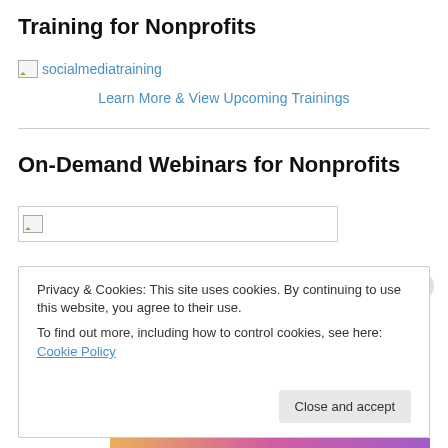Training for Nonprofits
[Figure (illustration): Broken image placeholder with text 'socialmediatraining' as a link]
Learn More & View Upcoming Trainings
On-Demand Webinars for Nonprofits
[Figure (illustration): Broken image placeholder with border box]
Privacy & Cookies: This site uses cookies. By continuing to use this website, you agree to their use.
To find out more, including how to control cookies, see here: Cookie Policy
Close and accept